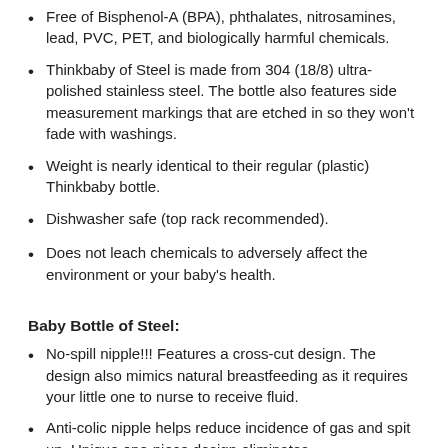Free of Bisphenol-A (BPA), phthalates, nitrosamines, lead, PVC, PET, and biologically harmful chemicals.
Thinkbaby of Steel is made from 304 (18/8) ultra-polished stainless steel. The bottle also features side measurement markings that are etched in so they won't fade with washings.
Weight is nearly identical to their regular (plastic) Thinkbaby bottle.
Dishwasher safe (top rack recommended).
Does not leach chemicals to adversely affect the environment or your baby's health.
Baby Bottle of Steel:
No-spill nipple!!! Features a cross-cut design. The design also mimics natural breastfeeding as it requires your little one to nurse to receive fluid.
Anti-colic nipple helps reduce incidence of gas and spit up. Unique one-piece design eliminates